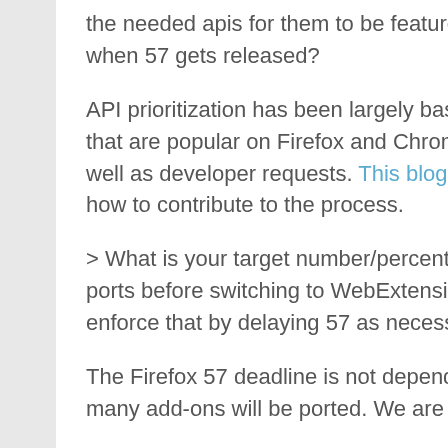the needed apis for them to be feature complete when 57 gets released?
API prioritization has been largely based on APIs that are popular on Firefox and Chrome add-ons, as well as developer requests. This blog post explains how to contribute to the process.
> What is your target number/percentage for those ports before switching to WebExtensions? Will you enforce that by delaying 57 as necessary?
The Firefox 57 deadline is not dependent on how many add-ons will be ported. We are